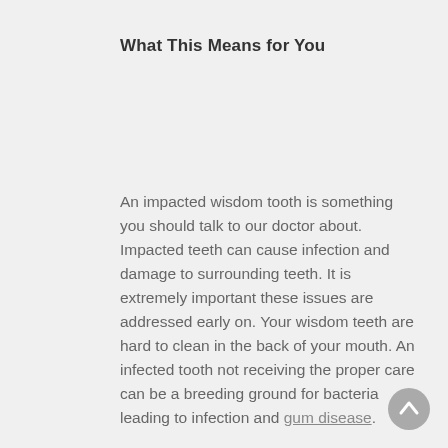What This Means for You
An impacted wisdom tooth is something you should talk to our doctor about. Impacted teeth can cause infection and damage to surrounding teeth. It is extremely important these issues are addressed early on. Your wisdom teeth are hard to clean in the back of your mouth. An infected tooth not receiving the proper care can be a breeding ground for bacteria leading to infection and gum disease.